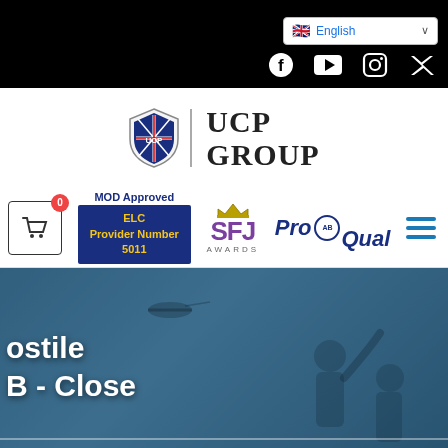English — language selector and social icons bar
[Figure (logo): UCP Group logo with heraldic shield and text UCP GROUP]
[Figure (logo): Navigation bar with cart (0), MOD Approved ELC Provider Number 5011 badge, SFJ Awards logo, ProQual logo, hamburger menu]
[Figure (photo): Hero image with blue-tinted military scene showing soldiers and helicopter; overlaid text partially reading 'ostile' and 'B - Close']